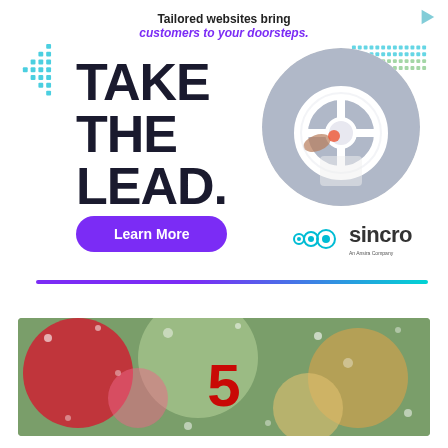[Figure (illustration): Advertisement banner for Sincro: 'Tailored websites bring customers to your doorsteps. TAKE THE LEAD.' with Learn More button, Sincro logo, car driving image in circle, decorative dot patterns, and gradient divider bar.]
[Figure (photo): Advertisement banner showing colorful holiday ornaments/decorations with snow bokeh effect and a red number 5 logo in the center.]